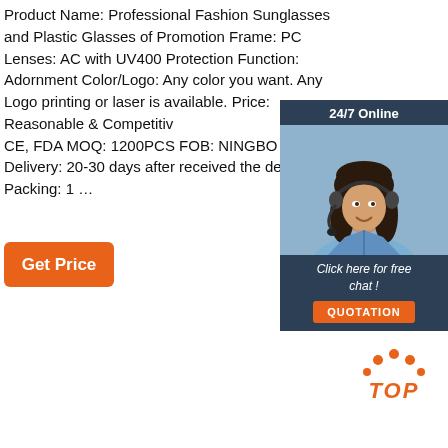Product Name: Professional Fashion Sunglasses and Plastic Glasses of Promotion Frame: PC Lenses: AC with UV400 Protection Function: Adornment Color/Logo: Any color you want. Any Logo printing or laser is available. Price: Reasonable & Competitive CE, FDA MOQ: 1200PCS FOB: NINGBO Delivery: 20-30 days after received the de Packing: 1 …
Get Price
[Figure (other): Customer service chat widget with '24/7 Online' header, photo of a woman wearing a headset, 'Click here for free chat!' text, and 'QUOTATION' button]
[Figure (other): Orange 'TOP' logo with dots above it arranged in an arc, indicating a back-to-top button]